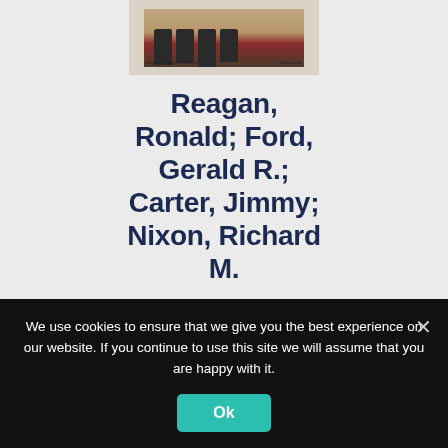[Figure (photo): Photograph of four US presidents together, with signatures below the image]
Reagan, Ronald; Ford, Gerald R.; Carter, Jimmy; Nixon, Richard M.
$3,995.00
$3,495.00
We use cookies to ensure that we give you the best experience on our website. If you continue to use this site we will assume that you are happy with it.